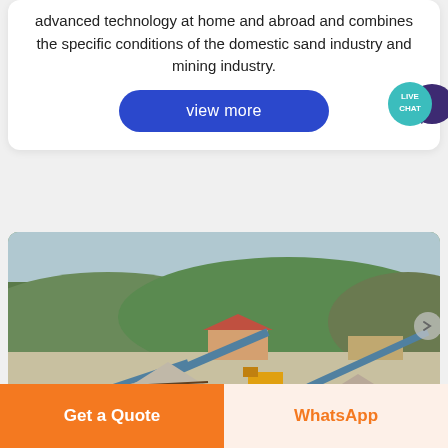advanced technology at home and abroad and combines the specific conditions of the domestic sand industry and mining industry.
view more
[Figure (illustration): LIVE CHAT speech bubble icon with teal circular badge and dark purple chat bubble icon]
[Figure (photo): Aerial view of a mining and sand processing facility with conveyor belts, aggregate piles, machinery, buildings, and green mountainous landscape in background]
Get a Quote
WhatsApp